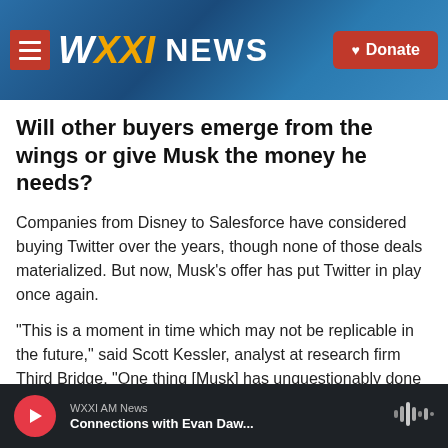WXXI NEWS — Donate
Will other buyers emerge from the wings or give Musk the money he needs?
Companies from Disney to Salesforce have considered buying Twitter over the years, though none of those deals materialized. But now, Musk's offer has put Twitter in play once again.
"This is a moment in time which may not be replicable in the future," said Scott Kessler, analyst at research firm Third Bridge. "One thing [Musk] has unquestionably done is to start conversations about the future of the company — whether in fact
WXXI AM News — Connections with Evan Daw...